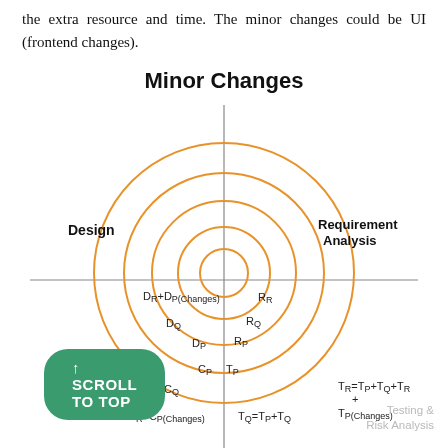the extra resource and time. The minor changes could be UI (frontend changes).
Minor Changes
[Figure (other): Concentric circle diagram labeled 'Minor Changes' showing nested rings for software development phases: Design (left), Requirement Analysis (upper right), Testing & Risk Analysis (lower right). Rings labeled from outer to inner: CR+CP(Changes), CQ, CP (bottom-left quadrant); DR+DP(Changes), DQ, DP (top-left); RR, RQ, RP (top-right); TP, TQ=TP+TQ (bottom-right). Center: CP/TP. Formula TR=TP+TQ+TR + TP(Changes) shown at right.]
↑ SCROLL TO TOP
Testing & Risk Analysis